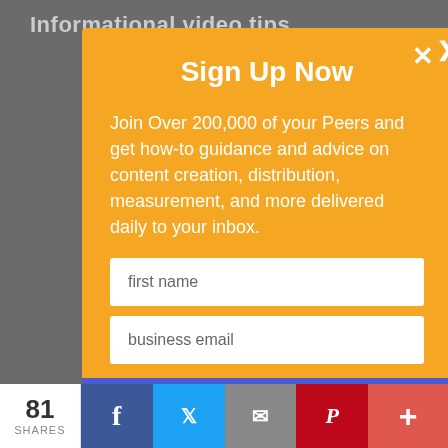Informational video tips
[Figure (screenshot): Modal popup overlay on a website with orange background, title 'Sign Up Now', body text about joining 200,000 peers, two input fields (first name, business email), and a blue 'Sign Up Now' button. Background shows a dark gray webpage with partial text visible.]
Sign Up Now
Join Over 200,000 of your Peers and get how-to guidance and advice on content creation, distribution, measurement, and more delivered daily to your inbox.
first name
business email
Sign Up Now
81 SHARES